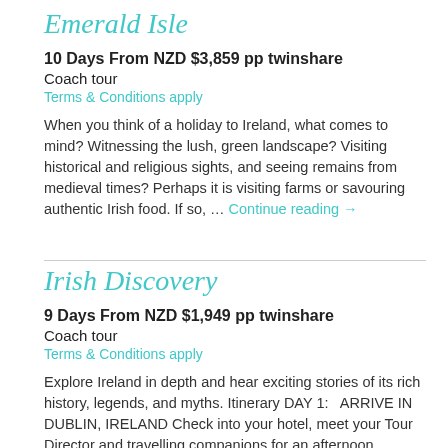Emerald Isle
10 Days From NZD $3,859 pp twinshare
Coach tour
Terms & Conditions apply
When you think of a holiday to Ireland, what comes to mind? Witnessing the lush, green landscape? Visiting historical and religious sights, and seeing remains from medieval times? Perhaps it is visiting farms or savouring authentic Irish food. If so, … Continue reading →
Irish Discovery
9 Days From NZD $1,949 pp twinshare
Coach tour
Terms & Conditions apply
Explore Ireland in depth and hear exciting stories of its rich history, legends, and myths. Itinerary DAY 1:   ARRIVE IN DUBLIN, IRELAND Check into your hotel, meet your Tour Director and travelling companions for an afternoon orientation drive through statuelined … Continue reading →